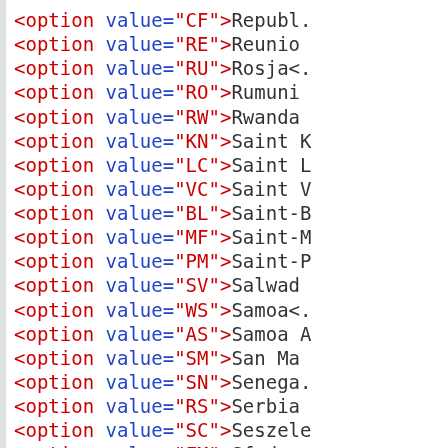<option value="CF">Republ.
<option value="RE">Reunion
<option value="RU">Rosja<
<option value="RO">Rumunia
<option value="RW">Rwanda
<option value="KN">Saint K
<option value="LC">Saint L
<option value="VC">Saint V
<option value="BL">Saint-B
<option value="MF">Saint-M
<option value="PM">Saint-P
<option value="SV">Salwade
<option value="WS">Samoa<
<option value="AS">Samoa A
<option value="SM">San Ma
<option value="SN">Senega.
<option value="RS">Serbia
<option value="SC">Seszele
<option value="FM">Sfedere
<option value="SL">Sierra